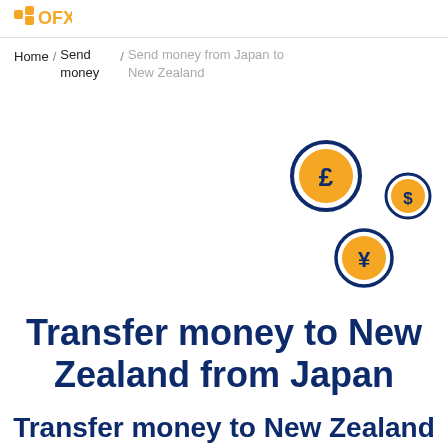OFX
Home / Send money / Send money from Japan to New Zealand
[Figure (illustration): Three currency coin icons: a large pound (£) coin with dark blue ring, a medium dollar ($) coin with dark blue ring, and a medium yen (¥) coin with dark blue ring, arranged in a scattered pattern on the right side of the page]
Transfer money to New Zealand from Japan
Transfer money to New Zealand...